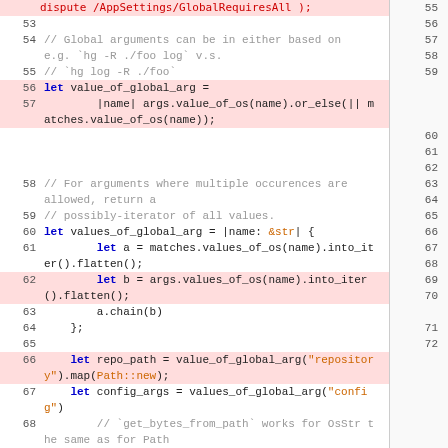Code listing showing Rust source code lines 53-68 with syntax highlighting and diff markup
[Figure (screenshot): Source code diff view showing Rust code with line numbers on both left and right sides. Lines 56-57 and 62 and 66 are highlighted in red/pink. The code deals with global argument parsing using ArgMatches.]